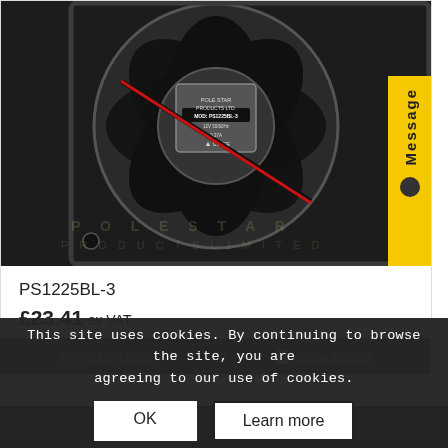[Figure (photo): Photo of a black 120mm PC case fan (Pole Star Products Ltd, model PS1225BL-3) with a red and black wire connector, showing the label: MOD: PS1225BL-3, 12V 50/60Hz, 0.37A, CE UL marks. Watermarked with Pole Star Products Ltd logo.]
PS1225BL-3
£23.41 ex VAT
Add to basket
Show Details
This site uses cookies. By continuing to browse the site, you are agreeing to our use of cookies.
OK
Learn more